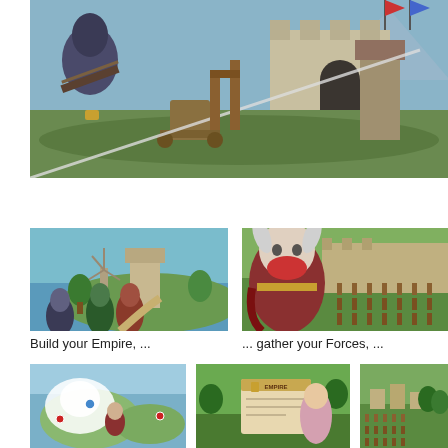[Figure (screenshot): Game screenshot showing a medieval archer in the foreground aiming a crossbow at a castle gate, with siege equipment visible in the background.]
[Figure (screenshot): Game screenshot showing characters looking at a coastal settlement with tower buildings.]
Build your Empire, ...
[Figure (screenshot): Game screenshot showing a large viking/warrior character in front of an army marching toward a wall.]
... gather your Forces, ...
[Figure (screenshot): Game screenshot showing a map view with a sea creature.]
[Figure (screenshot): Game screenshot showing an Empire title screen with a female character.]
[Figure (screenshot): Game screenshot showing an isometric city view with troops.]